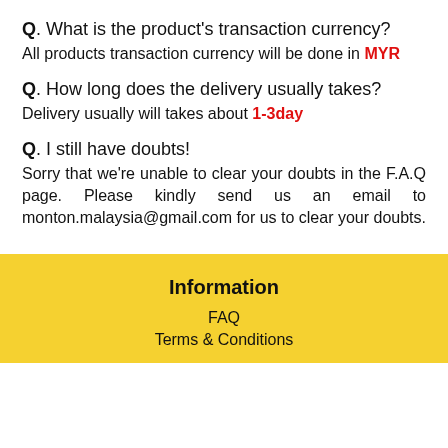Q. What is the product's transaction currency? All products transaction currency will be done in MYR
Q. How long does the delivery usually takes? Delivery usually will takes about 1-3day
Q. I still have doubts! Sorry that we're unable to clear your doubts in the F.A.Q page. Please kindly send us an email to monton.malaysia@gmail.com for us to clear your doubts.
Information
FAQ
Terms & Conditions